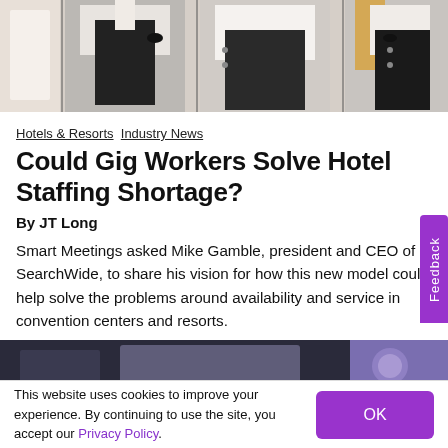[Figure (photo): Header photo showing hotel staff in black and white uniforms standing in a row]
Hotels & Resorts  Industry News
Could Gig Workers Solve Hotel Staffing Shortage?
By JT Long
Smart Meetings asked Mike Gamble, president and CEO of SearchWide, to share his vision for how this new model could help solve the problems around availability and service in convention centers and resorts.
[Figure (photo): Bottom partial image of an event or conference scene]
This website uses cookies to improve your experience. By continuing to use the site, you accept our Privacy Policy.